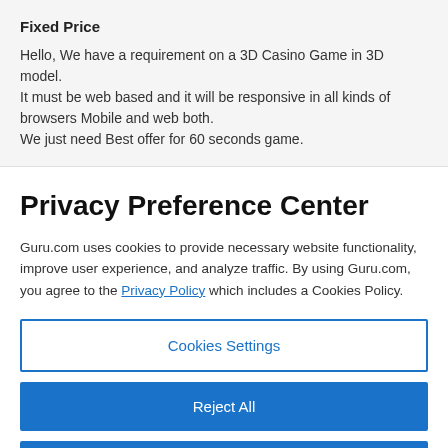Fixed Price
Hello, We have a requirement on a 3D Casino Game in 3D model.
It must be web based and it will be responsive in all kinds of browsers Mobile and web both.
We just need Best offer for 60 seconds game.
Privacy Preference Center
Guru.com uses cookies to provide necessary website functionality, improve user experience, and analyze traffic. By using Guru.com, you agree to the Privacy Policy which includes a Cookies Policy.
Cookies Settings
Reject All
Accept All Cookies